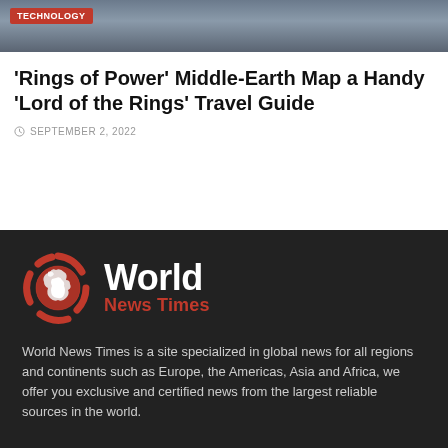[Figure (photo): Dark banner image with a TECHNOLOGY category badge in red at the top left]
'Rings of Power' Middle-Earth Map a Handy 'Lord of the Rings' Travel Guide
SEPTEMBER 2, 2022
[Figure (logo): World News Times logo: globe icon with segmented ring in red/white, followed by 'World' in white bold and 'News Times' in red bold]
World News Times is a site specialized in global news for all regions and continents such as Europe, the Americas, Asia and Africa, we offer you exclusive and certified news from the largest reliable sources in the world.